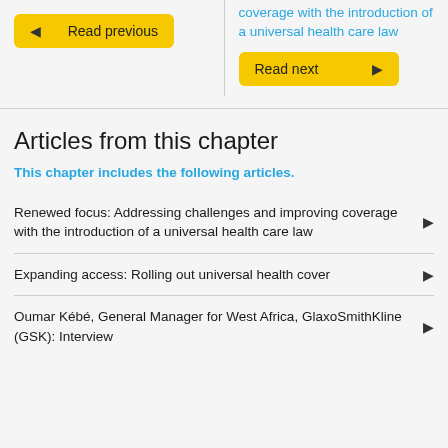coverage with the introduction of a universal health care law
Read previous
Read next
Articles from this chapter
This chapter includes the following articles.
Renewed focus: Addressing challenges and improving coverage with the introduction of a universal health care law
Expanding access: Rolling out universal health cover
Oumar Kébé, General Manager for West Africa, GlaxoSmithKline (GSK): Interview